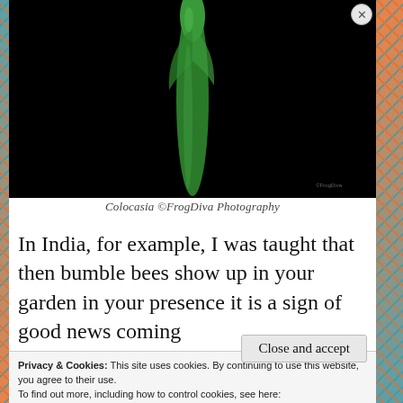[Figure (photo): Close-up photograph of a green Colocasia plant bud/shoot against a black background]
Colocasia ©FrogDiva Photography
In India, for example, I was taught that then bumble bees show up in your garden in your presence it is a sign of good news coming
Privacy & Cookies: This site uses cookies. By continuing to use this website, you agree to their use.
To find out more, including how to control cookies, see here:
Cookie Policy
Close and accept
email with more privacy.